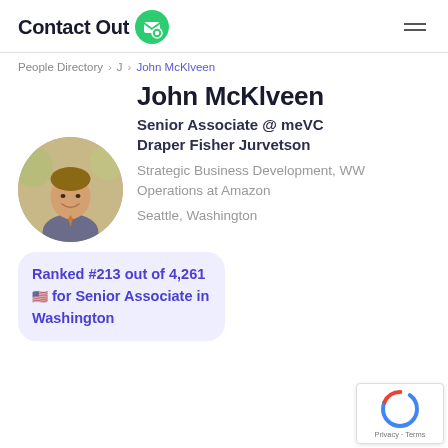ContactOut
People Directory > J > John McKlveen
John McKlveen
Senior Associate @ meVC Draper Fisher Jurvetson
Strategic Business Development, WW Operations at Amazon
Seattle, Washington
[Figure (photo): Profile photo of John McKlveen, a man smiling outdoors]
Ranked #213 out of 4,261 for Senior Associate in Washington